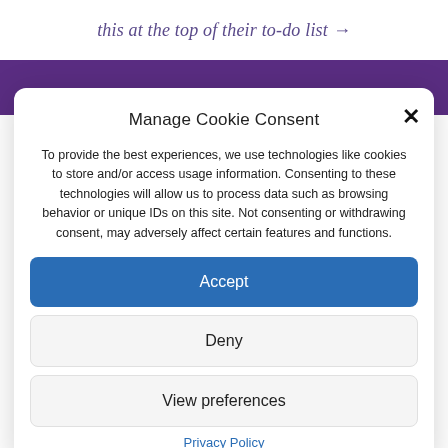this at the top of their to-do list →
[Figure (screenshot): Purple banner bar background]
Manage Cookie Consent
To provide the best experiences, we use technologies like cookies to store and/or access usage information. Consenting to these technologies will allow us to process data such as browsing behavior or unique IDs on this site. Not consenting or withdrawing consent, may adversely affect certain features and functions.
Accept
Deny
View preferences
Privacy Policy